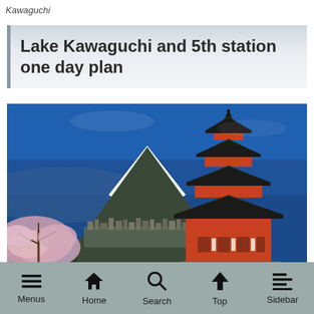Kawaguchi
Lake Kawaguchi and 5th station one day plan
[Figure (photo): Scenic photo showing Mount Fuji with snow-capped peak against a deep blue sky, cherry blossoms in the foreground left, a city/town below the mountain, and a traditional Japanese red pagoda on the right side of the image.]
Menus  Home  Search  Top  Sidebar